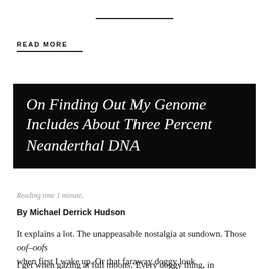READ MORE
On Finding Out My Genome Includes About Three Percent Neanderthal DNA
Reading time 1 minute.
By Michael Derrick Hudson
It explains a lot. The unappeasable nostalgia at sundown. Those oof-oofs
when first I wake up. Or that faraway doggy look
I get when gazing at full moons. Every doggy thing, in